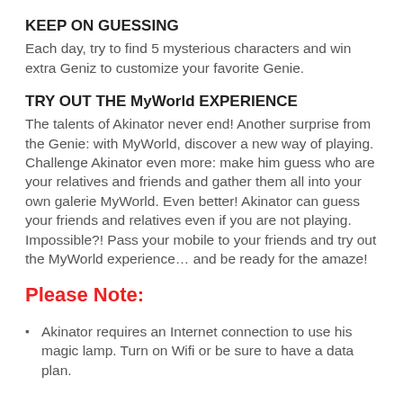KEEP ON GUESSING
Each day, try to find 5 mysterious characters and win extra Geniz to customize your favorite Genie.
TRY OUT THE MyWorld EXPERIENCE
The talents of Akinator never end! Another surprise from the Genie: with MyWorld, discover a new way of playing. Challenge Akinator even more: make him guess who are your relatives and friends and gather them all into your own galerie MyWorld. Even better! Akinator can guess your friends and relatives even if you are not playing. Impossible?! Pass your mobile to your friends and try out the MyWorld experience… and be ready for the amaze!
Please Note:
Akinator requires an Internet connection to use his magic lamp. Turn on Wifi or be sure to have a data plan.